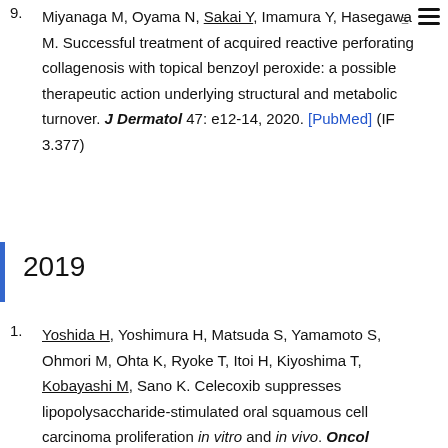9. Miyanaga M, Oyama N, Sakai Y, Imamura Y, Hasegawa M. Successful treatment of acquired reactive perforating collagenosis with topical benzoyl peroxide: a possible therapeutic action underlying structural and metabolic turnover. J Dermatol 47: e12-14, 2020. [PubMed] (IF 3.377)
2019
1. Yoshida H, Yoshimura H, Matsuda S, Yamamoto S, Ohmori M, Ohta K, Ryoke T, Itoi H, Kiyoshima T, Kobayashi M, Sano K. Celecoxib suppresses lipopolysaccharide-stimulated oral squamous cell carcinoma proliferation in vitro and in vivo. Oncol